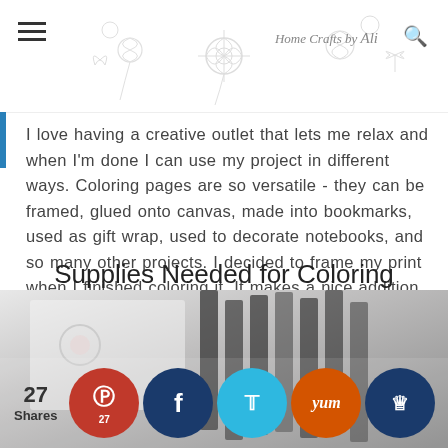Home Crafts by Ali — navigation header with floral decoration
I love having a creative outlet that lets me relax and when I'm done I can use my project in different ways. Coloring pages are so versatile - they can be framed, glued onto canvas, made into bookmarks, used as gift wrap, used to decorate notebooks, and so many other projects. I decided to frame my print when I finished coloring it. It makes a nice addition to my Spring decor mantle.
Supplies Needed for Coloring
[Figure (photo): Photo of coloring supplies/pencils with social share buttons overlay at bottom: 27 Shares, Pinterest (27), Facebook, Twitter, Yummly, and another social button]